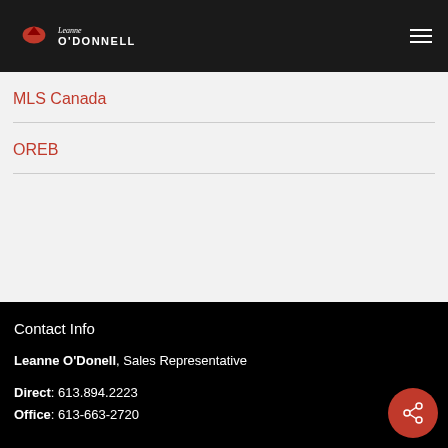Leanne O'Donnell
MLS Canada
OREB
Contact Info
Leanne O'Donell, Sales Representative
Direct: 613.894.2223
Office: 613-663-2720